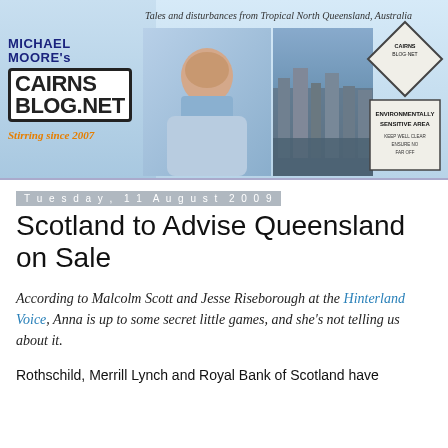[Figure (illustration): Michael Moore's Cairns Blog.net banner header with logo, photo of a man, aerial city photo, and environmentally sensitive area sign. Tagline: Tales and disturbances from Tropical North Queensland, Australia. Stirring since 2007.]
Tuesday, 11 August 2009
Scotland to Advise Queensland on Sale
According to Malcolm Scott and Jesse Riseborough at the Hinterland Voice, Anna is up to some secret little games, and she's not telling us about it.
Rothschild, Merrill Lynch and Royal Bank of Scotland have